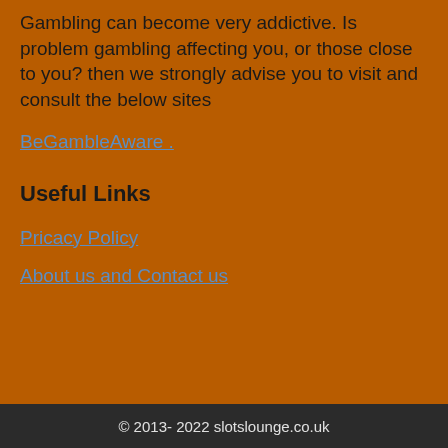Gambling can become very addictive. Is problem gambling affecting you, or those close to you? then we strongly advise you to visit and consult the below sites
BeGambleAware
Useful Links
Pricacy Policy
About us and Contact us
© 2013- 2022 slotslounge.co.uk